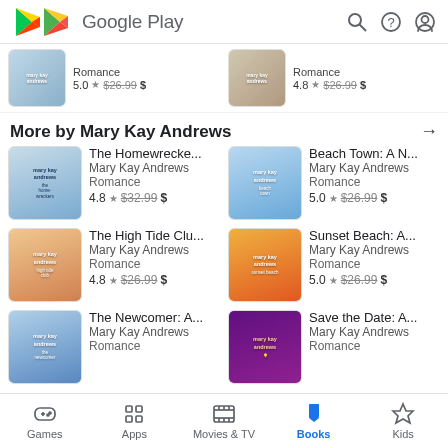[Figure (screenshot): Google Play header with logo, search, help, and account icons]
[Figure (screenshot): Partial row of two book items - Romance, 5.0 star $26.99 and 4.8 star $26.99]
More by Mary Kay Andrews →
[Figure (illustration): The Homewreckers book cover by Mary Kay Andrews]
The Homewrecke... Mary Kay Andrews Romance 4.8 ★ $32.99 $
[Figure (illustration): Beach Town: A Novel book cover by Mary Kay Andrews]
Beach Town: A N... Mary Kay Andrews Romance 5.0 ★ $26.99 $
[Figure (illustration): The High Tide Club book cover by Mary Kay Andrews]
The High Tide Clu... Mary Kay Andrews Romance 4.8 ★ $26.99 $
[Figure (illustration): Sunset Beach book cover by Mary Kay Andrews]
Sunset Beach: A... Mary Kay Andrews Romance 5.0 ★ $26.99 $
[Figure (illustration): The Newcomer book cover by Mary Kay Andrews]
The Newcomer: A... Mary Kay Andrews Romance
[Figure (illustration): Save the Date book cover by Mary Kay Andrews]
Save the Date: A... Mary Kay Andrews Romance
[Figure (screenshot): Bottom navigation bar: Games, Apps, Movies & TV, Books (active), Kids]